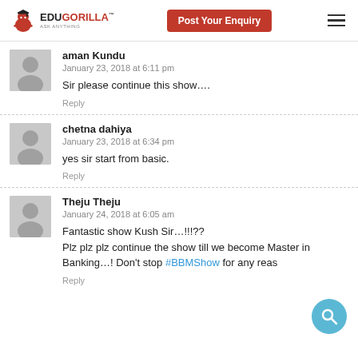EDUGORILLA™ ASK ANYTHING | Post Your Enquiry
aman Kundu
January 23, 2018 at 6:11 pm
Sir please continue this show….
Reply
chetna dahiya
January 23, 2018 at 6:34 pm
yes sir start from basic.
Reply
Theju Theju
January 24, 2018 at 6:05 am
Fantastic show Kush Sir…!!!??
Plz plz plz continue the show till we become Master in Banking…! Don't stop #BBMShow for any reas
Reply